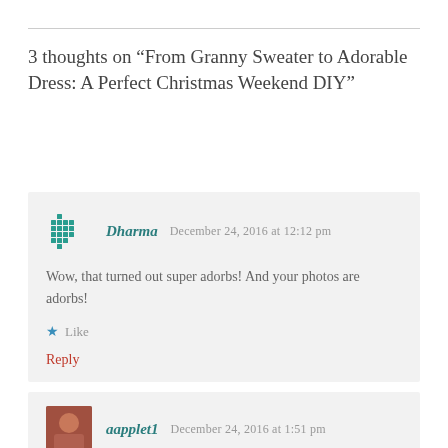3 thoughts on “From Granny Sweater to Adorable Dress: A Perfect Christmas Weekend DIY”
Wow, that turned out super adorbs! And your photos are adorbs!
Like
Reply